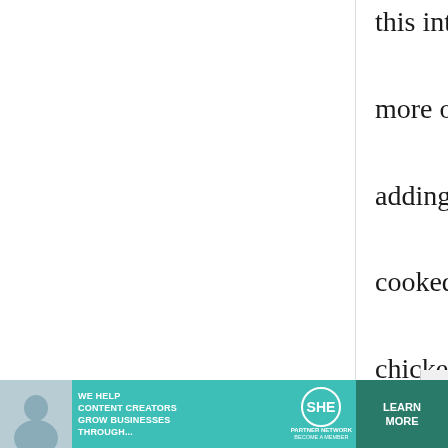this into my bento more often. adding a little bit of cooked teriyaki chicken into the mix is also very yummy!
anon.
28 April, 2010 - 16:45
permalink
or Atsuyaki
[Figure (screenshot): Advertisement banner: teal background with woman using laptop, SHE Media Partner Network logo, text 'We help content creators grow businesses through...' and 'Learn More' button]